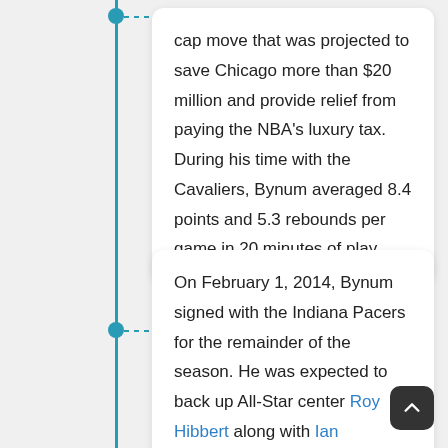cap move that was projected to save Chicago more than $20 million and provide relief from paying the NBA's luxury tax. During his time with the Cavaliers, Bynum averaged 8.4 points and 5.3 rebounds per game in 20 minutes of play.
On February 1, 2014, Bynum signed with the Indiana Pacers for the remainder of the season. He was expected to back up All-Star center Roy Hibbert along with Ian Mahinmi. Coach Frank Vogel planned to give Bynum one to two weeks of practice before evaluating if he was ready to play.